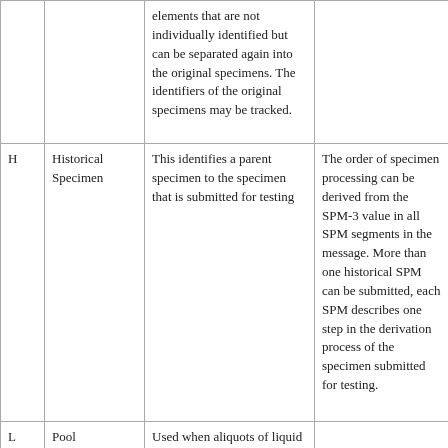|  |  | elements that are not individually identified but can be separated again into the original specimens. The identifiers of the original specimens may be tracked. |  |
| H | Historical Specimen | This identifies a parent specimen to the specimen that is submitted for testing | The order of specimen processing can be derived from the SPM-3 value in all SPM segments in the message. More than one historical SPM can be submitted, each SPM describes one step in the derivation process of the specimen submitted for testing. |
| L | Pool | Used when aliquots of liquid individual specimens are combined to form a single specimen representing all of the components that are not individually identified. The identifiers of the original specimens may be tracked. |  |
| O | Operator | Specimen used for testing |  |